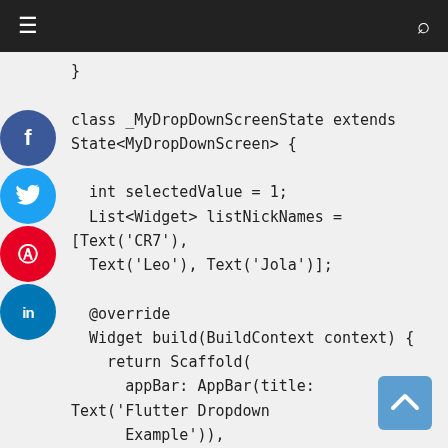≡  [hamburger menu]   [search icon]
[Figure (screenshot): Social media share buttons: Facebook (blue), Twitter (light blue), Pinterest (red), LinkedIn (blue)]
}

class _MyDropDownScreenState extends State<MyDropDownScreen> {

  int selectedValue = 1;
  List<Widget> listNickNames = [Text('CR7'), Text('Leo'), Text('Jola')];

  @override
  Widget build(BuildContext context) {
    return Scaffold(
      appBar: AppBar(title: Text('Flutter Dropdown Example')),
      body: Center(
        child: Container(
          child: DropdownButton(
            elevation: 10,